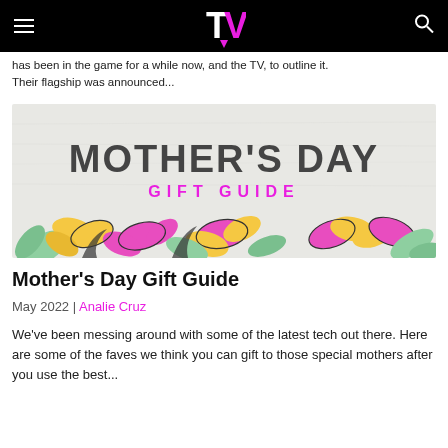TV (logo)
has been in the game for a while now, and the TV, to outline it. Their flagship was announced...
[Figure (illustration): Mother's Day Gift Guide promotional image with large bold text 'MOTHER'S DAY' in dark gray and 'GIFT GUIDE' in pink below, on a light crumpled paper background, with colorful cartoon flowers (pink, yellow, green) at the bottom.]
Mother's Day Gift Guide
May 2022 | Analie Cruz
We've been messing around with some of the latest tech out there. Here are some of the faves we think you can gift to those special mothers after you use the best...